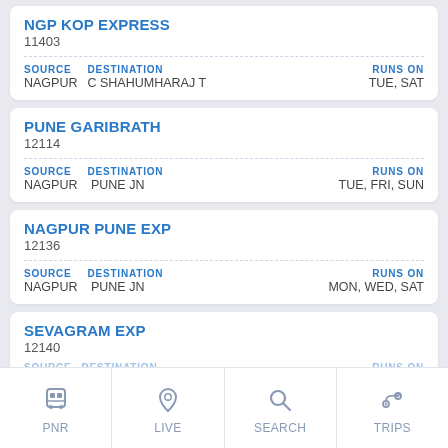NGP KOP EXPRESS
11403
| SOURCE | DESTINATION | RUNS ON |
| --- | --- | --- |
| NAGPUR | C SHAHUMHARAJ T | TUE, SAT |
PUNE GARIBRATH
12114
| SOURCE | DESTINATION | RUNS ON |
| --- | --- | --- |
| NAGPUR | PUNE JN | TUE, FRI, SUN |
NAGPUR PUNE EXP
12136
| SOURCE | DESTINATION | RUNS ON |
| --- | --- | --- |
| NAGPUR | PUNE JN | MON, WED, SAT |
SEVAGRAM EXP
12140
PNR  LIVE  SEARCH  TRIPS